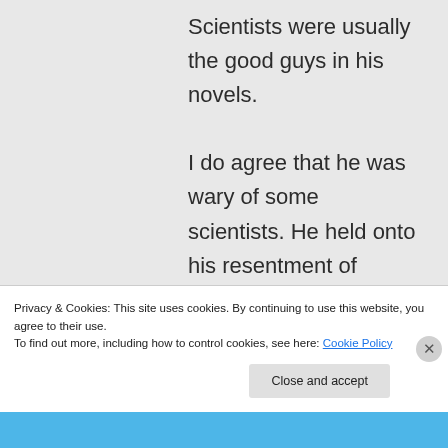Scientists were usually the good guys in his novels.

I do agree that he was wary of some scientists. He held onto his resentment of particular scientists involved in the eugenics
Privacy & Cookies: This site uses cookies. By continuing to use this website, you agree to their use.
To find out more, including how to control cookies, see here: Cookie Policy
Close and accept